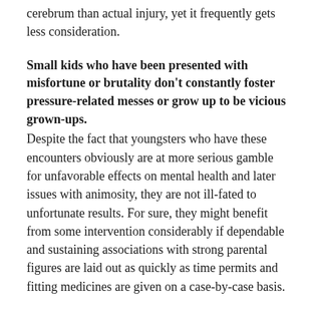cerebrum than actual injury, yet it frequently gets less consideration.
Small kids who have been presented with misfortune or brutality don't constantly foster pressure-related messes or grow up to be vicious grown-ups.
Despite the fact that youngsters who have these encounters obviously are at more serious gamble for unfavorable effects on mental health and later issues with animosity, they are not ill-fated to unfortunate results. For sure, they might benefit from some intervention considerably if dependable and sustaining associations with strong parental figures are laid out as quickly as time permits and fitting medicines are given on a case-by-case basis.
Just eliminating a youngster from a perilous climate won't consequently invert the adverse